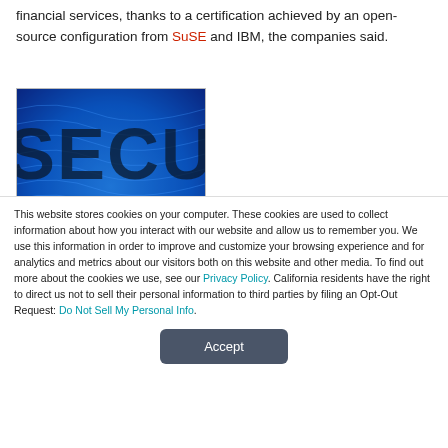financial services, thanks to a certification achieved by an open-source configuration from SuSE and IBM, the companies said.
[Figure (photo): Blue-tinted security image showing the word SECURITY with tech/circuit-board pattern overlay]
This website stores cookies on your computer. These cookies are used to collect information about how you interact with our website and allow us to remember you. We use this information in order to improve and customize your browsing experience and for analytics and metrics about our visitors both on this website and other media. To find out more about the cookies we use, see our Privacy Policy. California residents have the right to direct us not to sell their personal information to third parties by filing an Opt-Out Request: Do Not Sell My Personal Info.